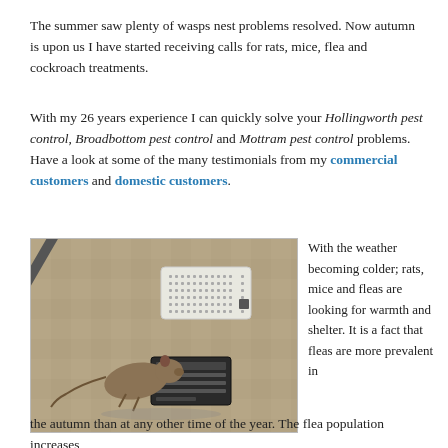The summer saw plenty of wasps nest problems resolved. Now autumn is upon us I have started receiving calls for rats, mice, flea and cockroach treatments.
With my 26 years experience I can quickly solve your Hollingworth pest control, Broadbottom pest control and Mottram pest control problems. Have a look at some of the many testimonials from my commercial customers and domestic customers.
[Figure (photo): Photo of a dead rat caught in a rat trap on a concrete floor, with a white ventilation panel visible above]
With the weather becoming colder; rats, mice and fleas are looking for warmth and shelter. It is a fact that fleas are more prevalent in
the autumn than at any other time of the year. The flea population increases